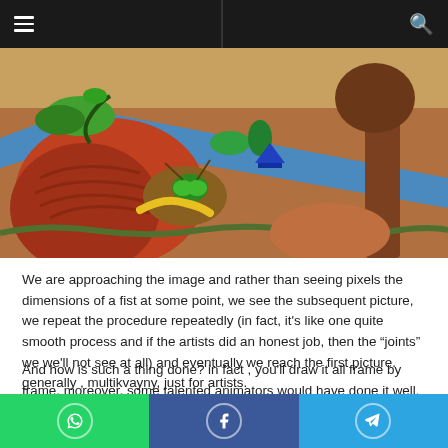Navigation bar with hamburger menu and search icon
[Figure (illustration): A colorful fantasy digital illustration showing giant insects or creatures in a surreal desert landscape with blue river/road, red rock formations, green cacti, and a large tree. Viewed from above at an angle.]
We are approaching the image and rather than seeing pixels the dimensions of a fist at some point, we see the subsequent picture, we repeat the procedure repeatedly (in fact, it's like one quite smooth process and if the artists did an honest job, then the “joints” we we'll not see at all) and eventually we reach the first picture. generally , multikvayny, just for artists.
And how is such a thing done? in fact , you'll draw it all frame by frame, moreover, some talented animators would have done it well. But practically altogether existing works of this
WhatsApp share | Facebook share | Telegram share